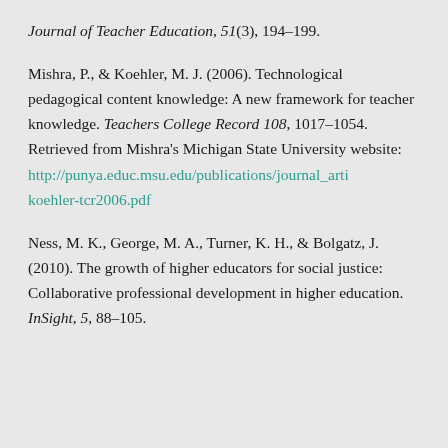Journal of Teacher Education, 51(3), 194–199.
Mishra, P., & Koehler, M. J. (2006). Technological pedagogical content knowledge: A new framework for teacher knowledge. Teachers College Record 108, 1017–1054. Retrieved from Mishra's Michigan State University website: http://punya.educ.msu.edu/publications/journal_arti koehler-tcr2006.pdf
Ness, M. K., George, M. A., Turner, K. H., & Bolgatz, J. (2010). The growth of higher educators for social justice: Collaborative professional development in higher education. InSight, 5, 88–105.